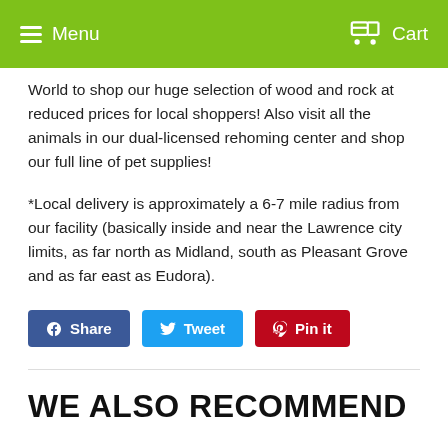Menu  Cart
World to shop our huge selection of wood and rock at reduced prices for local shoppers! Also visit all the animals in our dual-licensed rehoming center and shop our full line of pet supplies!
*Local delivery is approximately a 6-7 mile radius from our facility (basically inside and near the Lawrence city limits, as far north as Midland, south as Pleasant Grove and as far east as Eudora).
[Figure (other): Social share buttons: Share (Facebook, blue), Tweet (Twitter, light blue), Pin it (Pinterest, red)]
WE ALSO RECOMMEND